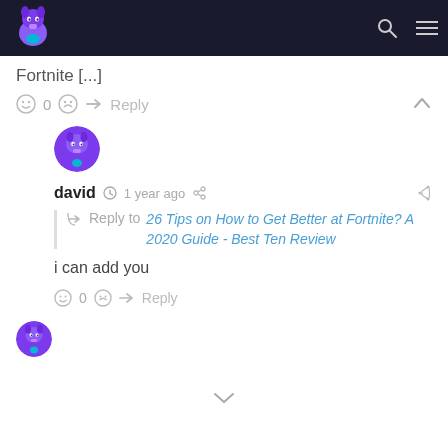Navigation bar with Fortnite llama logo, search and menu icons
Fortnite [...]
☺ 0 ☹ → Reply ∧
[Figure (illustration): Purple Fortnite llama avatar circle]
david 1 year ago
Reply to 26 Tips on How to Get Better at Fortnite? A 2020 Guide - Best Ten Review
i can add you
☺ 0 ☹ → Reply
[Figure (illustration): Purple Fortnite llama avatar circle (smaller)]